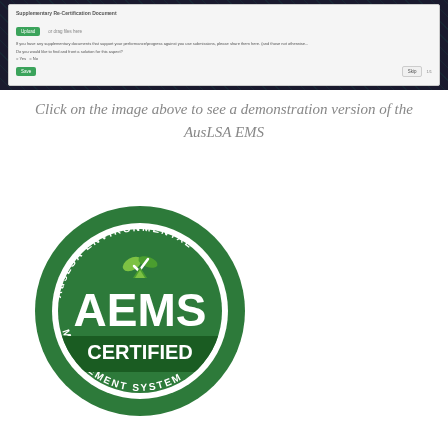[Figure (screenshot): A screenshot of the AusLSA EMS web interface showing a form with a 'Supplementary Re-Certification Document' upload area with a green Upload button and drag files text, helper text about supplementary documents, a question about finding a solution for this aspect with Yes/No radio options, and a green Save button at bottom left with a Skip button at bottom right, plus a page counter.]
Click on the image above to see a demonstration version of the AusLSA EMS
[Figure (logo): AusLSA Environmental Management System (AEMS) Certified circular logo. Green circle with white text AEMS in large letters, a green leaf/checkmark icon above, circular text reading 'AusLSA Environmental Management System' around the top and 'Management System' around the bottom, and 'CERTIFIED' text in a dark green banner across the lower portion.]